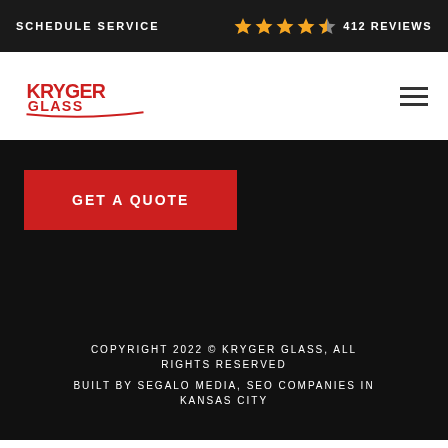SCHEDULE SERVICE   ★★★★☆ 412 REVIEWS
[Figure (logo): Kryger Glass red logo with swoosh underline]
GET A QUOTE
COPYRIGHT 2022 © KRYGER GLASS, ALL RIGHTS RESERVED
BUILT BY SEGALO MEDIA, SEO COMPANIES IN KANSAS CITY